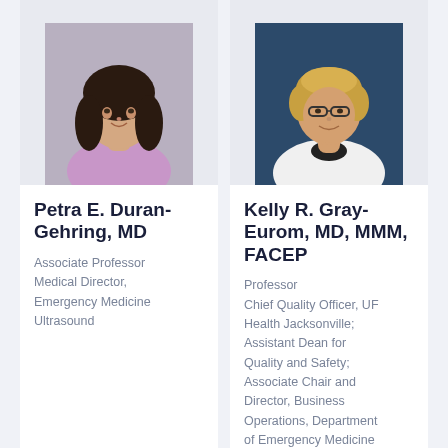[Figure (photo): Professional headshot of Petra E. Duran-Gehring, MD, a woman with long dark hair wearing a light purple top, smiling.]
Petra E. Duran-Gehring, MD
Associate Professor
Medical Director, Emergency Medicine Ultrasound
[Figure (photo): Professional headshot of Kelly R. Gray-Eurom, MD, MMM, FACEP, a woman with short blonde hair wearing a white coat, smiling.]
Kelly R. Gray-Eurom, MD, MMM, FACEP
Professor
Chief Quality Officer, UF Health Jacksonville; Assistant Dean for Quality and Safety; Associate Chair and Director, Business Operations, Department of Emergency Medicine